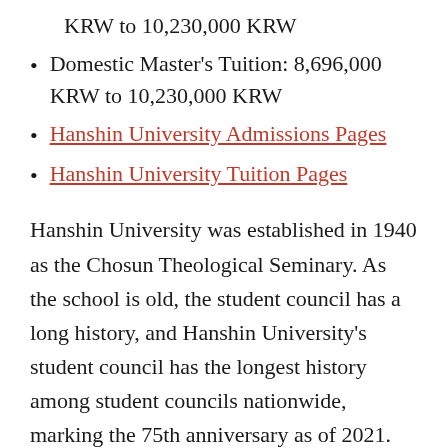KRW to 10,230,000 KRW
Domestic Master's Tuition: 8,696,000 KRW to 10,230,000 KRW
Hanshin University Admissions Pages
Hanshin University Tuition Pages
Hanshin University was established in 1940 as the Chosun Theological Seminary. As the school is old, the student council has a long history, and Hanshin University's student council has the longest history among student councils nationwide, marking the 75th anniversary as of 2021. Hanshin University's denomination is Christian, and the overall